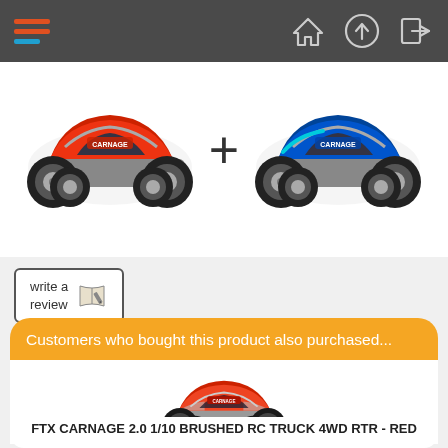[Figure (screenshot): Mobile navigation bar with hamburger menu icon (red/blue lines) on left and home, upload, login icons on right, dark gray background]
[Figure (photo): Two RC monster trucks side by side with a plus sign between them. Left truck is red/silver, right truck is blue/silver. Product combo image on white background.]
[Figure (illustration): Write a review button with book/pencil icon inside a bordered rectangle]
Customers who bought this product also purchased...
[Figure (photo): Red FTX Carnage 2.0 1/10 brushed RC monster truck 4WD RTR product photo on white background]
FTX CARNAGE 2.0 1/10 BRUSHED RC TRUCK 4WD RTR - RED